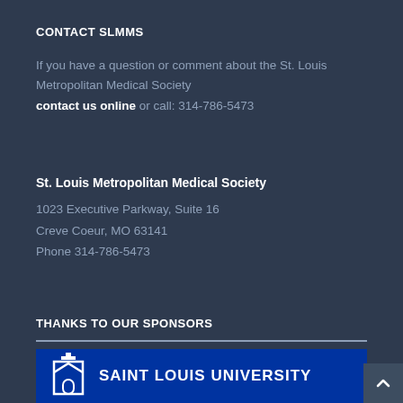CONTACT SLMMS
If you have a question or comment about the St. Louis Metropolitan Medical Society contact us online or call: 314-786-5473
St. Louis Metropolitan Medical Society
1023 Executive Parkway, Suite 16
Creve Coeur, MO 63141
Phone 314-786-5473
THANKS TO OUR SPONSORS
[Figure (logo): Saint Louis University logo on blue banner background]